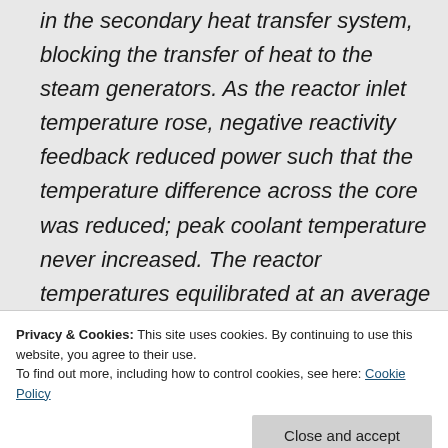in the secondary heat transfer system, blocking the transfer of heat to the steam generators. As the reactor inlet temperature rose, negative reactivity feedback reduced power such that the temperature difference across the core was reduced; peak coolant temperature never increased. The reactor temperatures equilibrated at an average temperature very close
Privacy & Cookies: This site uses cookies. By continuing to use this website, you agree to their use.
To find out more, including how to control cookies, see here: Cookie Policy
the coolant temperature increases